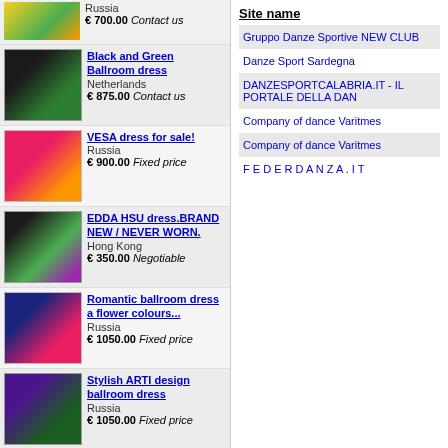Russia
€ 700.00 Contact us
Black and Green Ballroom dress
Netherlands
€ 875.00 Contact us
VESA dress for sale!
Russia
€ 900.00 Fixed price
EDDA HSU dress.BRAND NEW / NEVER WORN.
Hong Kong
€ 350.00 Negotiable
Romantic ballroom dress a flower colours...
Russia
€ 1050.00 Fixed price
Stylish ARTI design ballroom dress
Russia
€ 1050.00 Fixed price
Dresses / Tail Suits
Great Latin Dress
United States
€ 1650.00 Negotiable
Size: XS/ S
VESA DRESS
France
€ 1000.00 Fixed price
Size: S
Vesa Latin Dance Dress - pink
Switzerland
€ 999.00 Negotiable
Size: Small
Ballroom dress for sale
Site name
Gruppo Danze Sportive NEW CLUB
Danze Sport Sardegna
DANZESPORTCALABRIA.IT - IL PORTALE DELLA DAN
Company of dance Varitmes
Company of dance Varitmes
F E D E R D A N Z A . I T